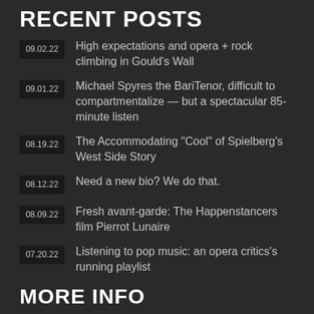RECENT POSTS
09.02.22 High expectations and opera + rock climbing in Gould's Wall
09.01.22 Michael Spyres the BariTenor, difficult to compartmentalize — but a spectacular 85-minute listen
08.19.22 The Accommodating "Cool" of Spielberg's West Side Story
08.12.22 Need a new bio? We do that.
08.09.22 Fresh avant-garde: The Happenstancers film Pierrot Lunaire
07.20.22 Listening to pop music: an opera critics's running playlist
MORE INFO